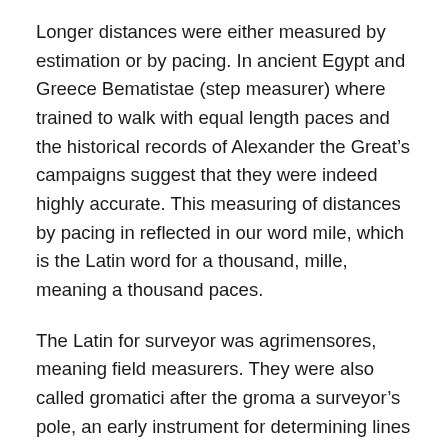Longer distances were either measured by estimation or by pacing. In ancient Egypt and Greece Bematistae (step measurer) where trained to walk with equal length paces and the historical records of Alexander the Great’s campaigns suggest that they were indeed highly accurate. This measuring of distances by pacing in reflected in our word mile, which is the Latin word for a thousand, mille, meaning a thousand paces.
The Latin for surveyor was agrimensores, meaning field measurers. They were also called gromatici after the groma a surveyor’s pole, an early instrument for determining lines at right angles to each other.
The groma or gruma was a Roman surveying instrument. It comprised a vertical staff with horizontal cross-pieces mounted at right angles on a bracket. Each